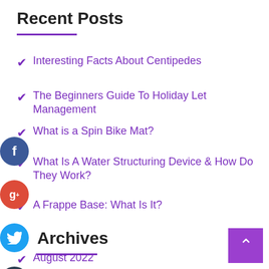Recent Posts
Interesting Facts About Centipedes
The Beginners Guide To Holiday Let Management
What is a Spin Bike Mat?
What Is A Water Structuring Device & How Do They Work?
A Frappe Base: What Is It?
Archives
August 2022
July 2022